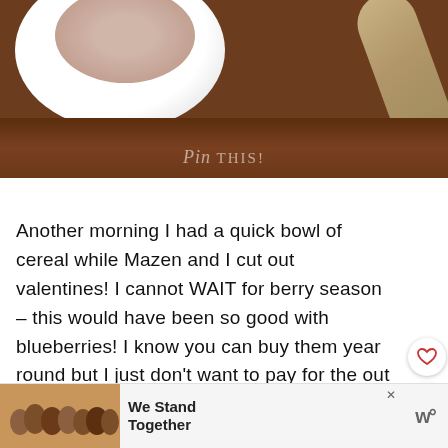[Figure (photo): Overhead photo of a white bowl of cereal on a wooden table with a decorative spoon, with a 'Pin This!' overlay watermark]
Another morning I had a quick bowl of cereal while Mazen and I cut out valentines! I cannot WAIT for berry season – this would have been so good with blueberries! I know you can buy them year round but I just don't want to pay for the out of season berries. Frozen is always a good option t...
[Figure (screenshot): Advertisement banner reading 'We Stand Together' with group photo and a logo on the right]